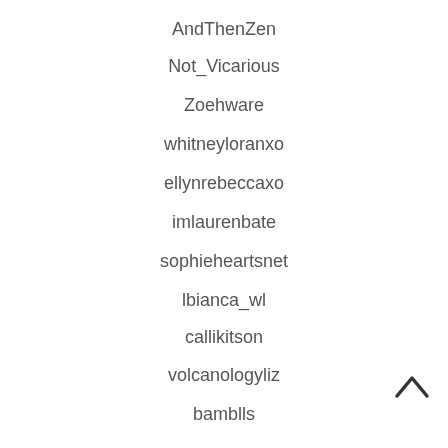AndThenZen
Not_Vicarious
Zoehware
whitneyloranxo
ellynrebeccaxo
imlaurenbate
sophieheartsnet
lbianca_wl
callikitson
volcanologyliz
bamblls